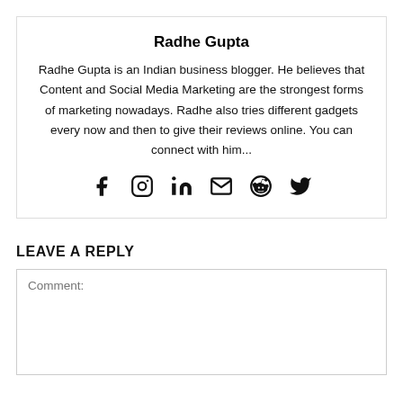Radhe Gupta
Radhe Gupta is an Indian business blogger. He believes that Content and Social Media Marketing are the strongest forms of marketing nowadays. Radhe also tries different gadgets every now and then to give their reviews online. You can connect with him...
[Figure (infographic): Row of 6 social media icons: Facebook, Instagram, LinkedIn, Email, Reddit, Twitter]
LEAVE A REPLY
Comment: